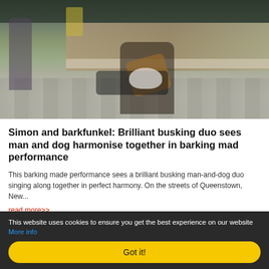[Figure (photo): A street musician (busker) sitting on a stool against a stone brick wall, playing an acoustic guitar. A black and white dog lies on the pavement in front of an open guitar case. A pedestrian walks by on the left.]
Simon and barkfunkel: Brilliant busking duo sees man and dog harmonise together in barking mad performance
This barking made performance sees a brilliant busking man-and-dog duo singing along together in perfect harmony. On the streets of Queenstown, New...
read more>>
This website uses cookies to ensure you get the best experience on our website More info
Got it!